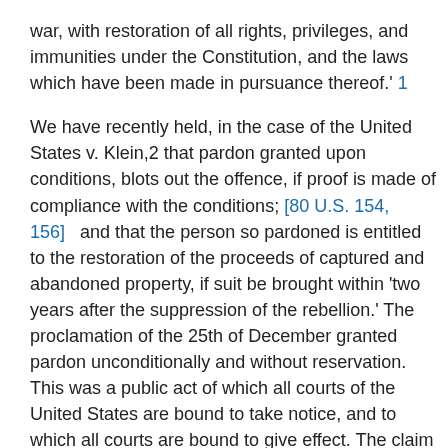war, with restoration of all rights, privileges, and immunities under the Constitution, and the laws which have been made in pursuance thereof.' 1
We have recently held, in the case of the United States v. Klein,2 that pardon granted upon conditions, blots out the offence, if proof is made of compliance with the conditions; [80 U.S. 154, 156] and that the person so pardoned is entitled to the restoration of the proceeds of captured and abandoned property, if suit be brought within 'two years after the suppression of the rebellion.' The proclamation of the 25th of December granted pardon unconditionally and without reservation. This was a public act of which all courts of the United States are bound to take notice, and to which all courts are bound to give effect. The claim of the petitioner was preferred within two years. The Court of Claims, therefore, erred in not giving the petitioner the benefit of the proclamation.